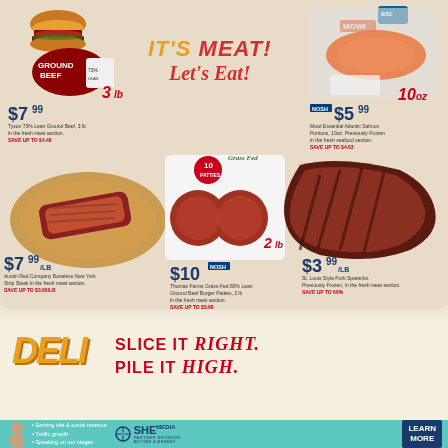IT'S MEAT! Let's Eat!
$7.99 Tyson 73% Lean Ground Beef, 3 lb in the fresh meat section. SAVE UP TO $4.49
$5.99 Mowi Essential Atlantic Salmon Portions, 10oz. Previously Frozen in the fresh seafood section. SAVE UP TO $4.63
$7.99/LB Austin Red Company Boneless New York Strip Steak in the fresh meat section. SAVE UP TO $3.65/LB
$10 Thomas Farms Grass-Fed 80% Lean Ground Beef Burger Patties, 2 lb in the fresh meat section. SAVE UP TO $5.99
$3.99/LB St. Louis Style Pork Spareribs Previously Frozen, in the fresh meat section. SAVE UP TO 60%
DELI
SLICE IT Right. PILE IT High.
2 for $6 Hillshire Farm Sausage Ropes, 12-14 oz assorted varieties in the refrigerated section. Save up to 50%
Earning site & social revenue
Traffic growth
Speaking on our stages
SHE PARTNER NETWORK BECOME A MEMBER
LEARN MORE